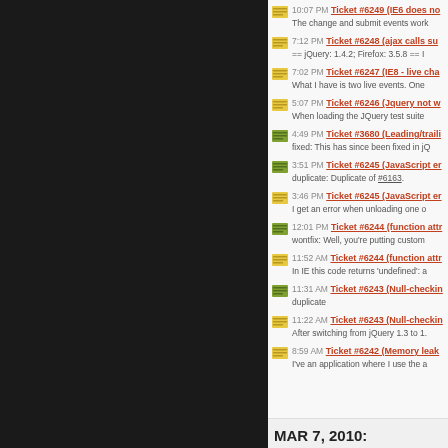10:07 PM Ticket #6249 (IE6 does no... The change and submit events work
7:12 PM Ticket #6248 (ajax calls su... == jQuery: 1.4.2; Firefox: 3.5.8 == I
7:02 PM Ticket #6247 (IE8 - live cha... What I have is two live events. One
5:07 PM Ticket #6246 (Jquery not w... When loading the JQuery test suite
4:49 PM Ticket #3680 (Leading/traili... fixed: This has since been fixed in jQ
3:51 PM Ticket #6245 (JavaScript er... duplicate: Duplicate of #6163.
3:46 PM Ticket #6245 (JavaScript er... I get an error when unloading one o
12:01 PM Ticket #6244 (function attr... wontfix: Well, you're putting custom
11:52 AM Ticket #6244 (function attr... In IE this code returns 'undefined': a
11:31 AM Ticket #6243 (Null-checkin... duplicate
11:22 AM Ticket #6243 (Null-checkin... After switching from jQuery 1.3 to 1.
8:59 AM Ticket #6242 (Memory leak... I've an application where I use the a
MAR 7, 2010: